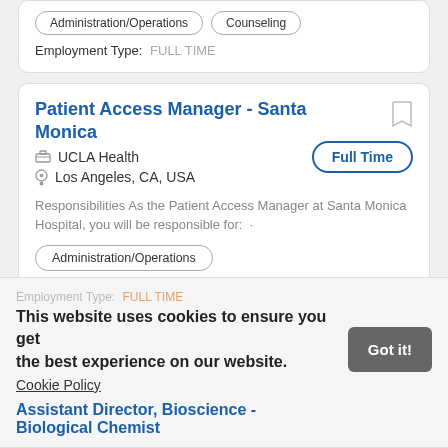Administration/Operations
Counseling
Employment Type:  FULL TIME
Patient Access Manager - Santa Monica
Full Time
UCLA Health
Los Angeles, CA, USA
Responsibilities As the Patient Access Manager at Santa Monica Hospital, you will be responsible for:  ·
Administration/Operations
Employment Type:  FULL TIME
This website uses cookies to ensure you get the best experience on our website. Cookie Policy
Got it!
Assistant Director, Bioscience - Biological Chemist